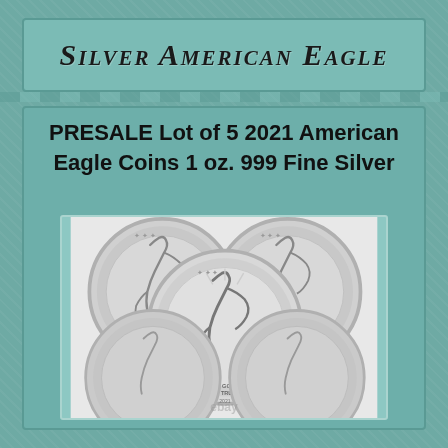Silver American Eagle
PRESALE Lot of 5 2021 American Eagle Coins 1 oz. 999 Fine Silver
[Figure (photo): Five Silver American Eagle coins arranged in a flower pattern, showing the Walking Liberty design on the obverse, with 'IN GOD WE TRUST' text visible on the coins, and a faint eBay watermark]